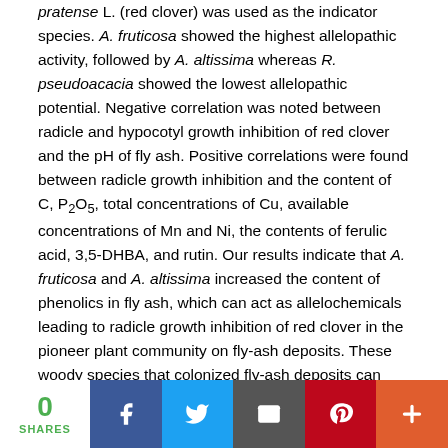pratense L. (red clover) was used as the indicator species. A. fruticosa showed the highest allelopathic activity, followed by A. altissima whereas R. pseudoacacia showed the lowest allelopathic potential. Negative correlation was noted between radicle and hypocotyl growth inhibition of red clover and the pH of fly ash. Positive correlations were found between radicle growth inhibition and the content of C, P2O5, total concentrations of Cu, available concentrations of Mn and Ni, the contents of ferulic acid, 3,5-DHBA, and rutin. Our results indicate that A. fruticosa and A. altissima increased the content of phenolics in fly ash, which can act as allelochemicals leading to radicle growth inhibition of red clover in the pioneer plant community on fly-ash deposits. These woody species that colonized fly-ash deposits can initiate the beginning of pedogenetic processes altering the ecosystem processes at degraded sites.
[Figure (infographic): Social sharing bar with share count of 0, Facebook, Twitter, Email, Pinterest, and More buttons]